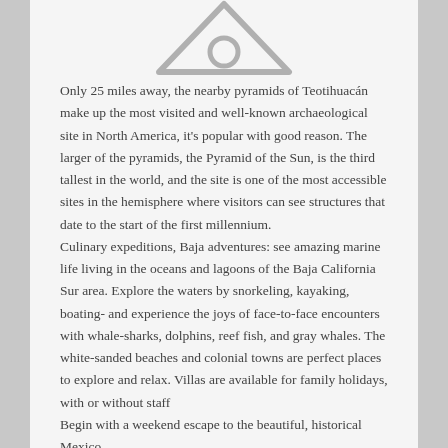[Figure (illustration): A triangular road sign icon (warning sign shape) with a circle in the center, rendered in light gray.]
Only 25 miles away, the nearby pyramids of Teotihuacán make up the most visited and well-known archaeological site in North America, it's popular with good reason. The larger of the pyramids, the Pyramid of the Sun, is the third tallest in the world, and the site is one of the most accessible sites in the hemisphere where visitors can see structures that date to the start of the first millennium.
Culinary expeditions, Baja adventures: see amazing marine life living in the oceans and lagoons of the Baja California Sur area. Explore the waters by snorkeling, kayaking, boating- and experience the joys of face-to-face encounters with whale-sharks, dolphins, reef fish, and gray whales. The white-sanded beaches and colonial towns are perfect places to explore and relax. Villas are available for family holidays, with or without staff
Begin with a weekend escape to the beautiful, historical Mexico